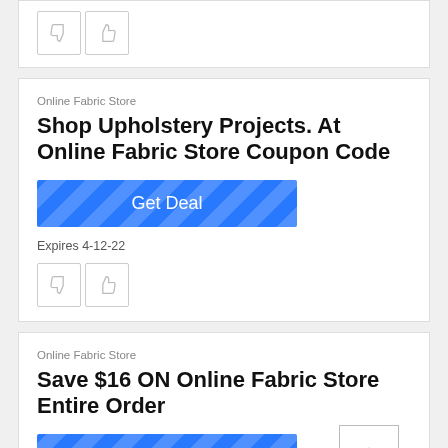[Figure (screenshot): Partial top card showing thumbs down and thumbs up vote buttons]
Online Fabric Store
Shop Upholstery Projects. At Online Fabric Store Coupon Code
[Figure (other): Get Deal button with diagonal stripe pattern, blue background]
Expires 4-12-22
[Figure (other): Thumbs down and thumbs up vote buttons]
Online Fabric Store
Save $16 ON Online Fabric Store Entire Order
[Figure (other): Get Deal button with diagonal stripe pattern, blue background]
Expires 4-11-22
[Figure (other): Scroll to top button with upward chevron arrow]